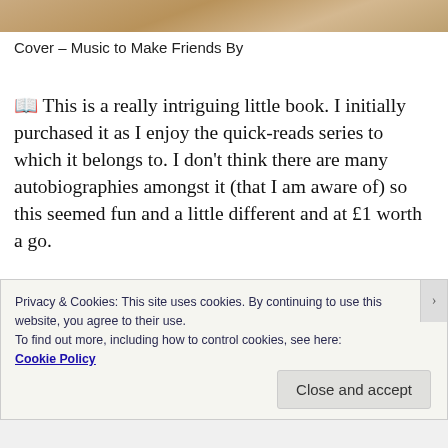[Figure (photo): Partial photo strip at top of page showing a light brown/tan surface]
Cover – Music to Make Friends By
📖 This is a really intriguing little book. I initially purchased it as I enjoy the quick-reads series to which it belongs to. I don't think there are many autobiographies amongst it (that I am aware of) so this seemed fun and a little different and at £1 worth a go.
Privacy & Cookies: This site uses cookies. By continuing to use this website, you agree to their use.
To find out more, including how to control cookies, see here:
Cookie Policy
Close and accept